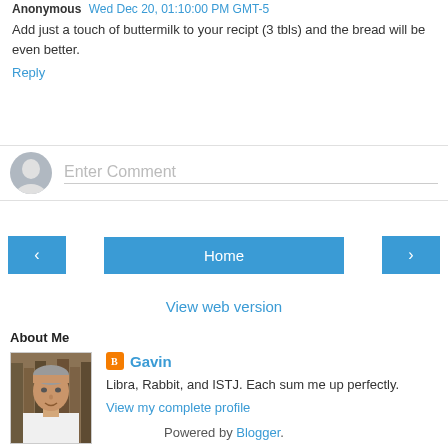Anonymous Wed Dec 20, 01:10:00 PM GMT-5
Add just a touch of buttermilk to your recipt (3 tbls) and the bread will be even better.
Reply
[Figure (other): Enter Comment input field with user avatar placeholder]
[Figure (other): Navigation buttons: left arrow, Home, right arrow]
View web version
About Me
[Figure (photo): Profile photo of Gavin, a middle-aged man with gray hair in a white shirt]
Gavin
Libra, Rabbit, and ISTJ. Each sum me up perfectly.
View my complete profile
Powered by Blogger.